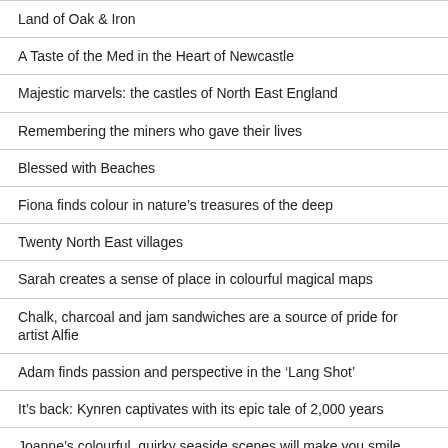Land of Oak & Iron
A Taste of the Med in the Heart of Newcastle
Majestic marvels: the castles of North East England
Remembering the miners who gave their lives
Blessed with Beaches
Fiona finds colour in nature's treasures of the deep
Twenty North East villages
Sarah creates a sense of place in colourful magical maps
Chalk, charcoal and jam sandwiches are a source of pride for artist Alfie
Adam finds passion and perspective in the ‘Lang Shot’
It's back: Kynren captivates with its epic tale of 2,000 years
Joanne’s colourful, quirky seaside scenes will make you smile